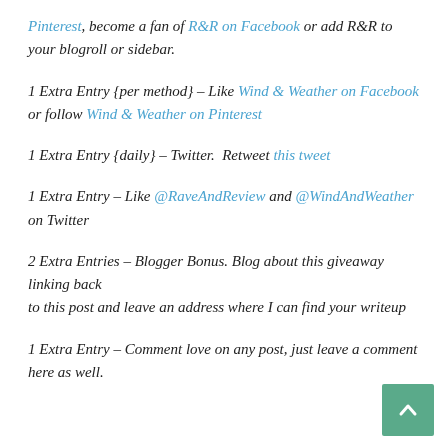Pinterest, become a fan of R&R on Facebook or add R&R to your blogroll or sidebar.
1 Extra Entry {per method} – Like Wind & Weather on Facebook or follow Wind & Weather on Pinterest
1 Extra Entry {daily} – Twitter.  Retweet this tweet
1 Extra Entry – Like @RaveAndReview and @WindAndWeather on Twitter
2 Extra Entries – Blogger Bonus. Blog about this giveaway linking back to this post and leave an address where I can find your writeup
1 Extra Entry – Comment love on any post, just leave a comment here as well.